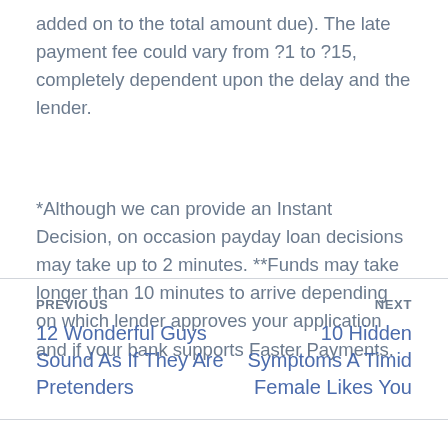added on to the total amount due). The late payment fee could vary from ?1 to ?15, completely dependent upon the delay and the lender.
*Although we can provide an Instant Decision, on occasion payday loan decisions may take up to 2 minutes. **Funds may take longer than 10 minutes to arrive depending on which lender approves your application and if your bank supports Faster Payments.
PREVIOUS
12 Wonderful Guys Sound As If They Are Pretenders
NEXT
10 Hidden Symptoms A Timid Female Likes You